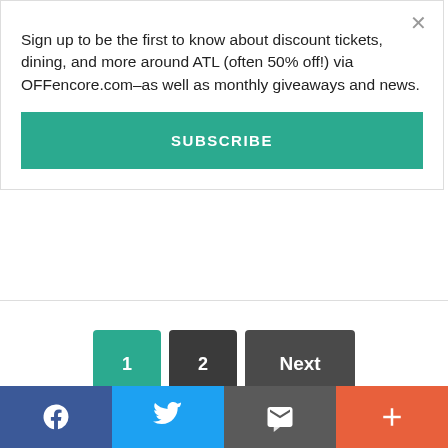Sign up to be the first to know about discount tickets, dining, and more around ATL (often 50% off!) via OFFencore.com–as well as monthly giveaways and news.
SUBSCRIBE
1  2  Next
[Figure (infographic): Social sharing bar with Facebook, Twitter, email/envelope, and plus buttons]